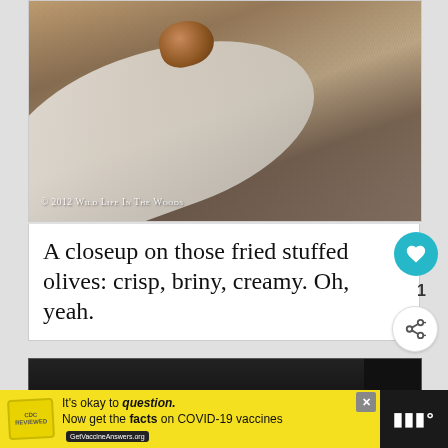[Figure (photo): Close-up photograph of a fried stuffed olive on a spoon, resting on a textured surface. Watermark reads: © 2012 Wild Life In The Woods]
© 2012 Wild Life In The Woods
A closeup on those fried stuffed olives: crisp, briny, creamy. Oh, yeah.
[Figure (screenshot): What's Next panel showing thumbnail and title: The Nashville Food Truck...]
[Figure (screenshot): Advertisement banner: It's okay to question. Now get the facts on COVID-19 vaccines. GetVaccineAnswers.org]